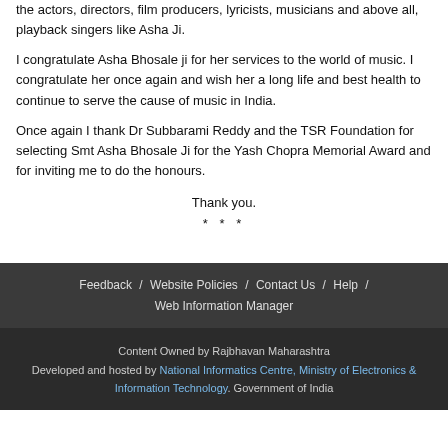the actors, directors, film producers, lyricists, musicians and above all, playback singers like Asha Ji.
I congratulate Asha Bhosale ji for her services to the world of music. I congratulate her once again and wish her a long life and best health to continue to serve the cause of music in India.
Once again I thank Dr Subbarami Reddy and the TSR Foundation for selecting Smt Asha Bhosale Ji for the Yash Chopra Memorial Award and for inviting me to do the honours.
Thank you.
* * *
Feedback / Website Policies / Contact Us / Help / Web Information Manager
Content Owned by Rajbhavan Maharashtra
Developed and hosted by National Informatics Centre, Ministry of Electronics & Information Technology. Government of India